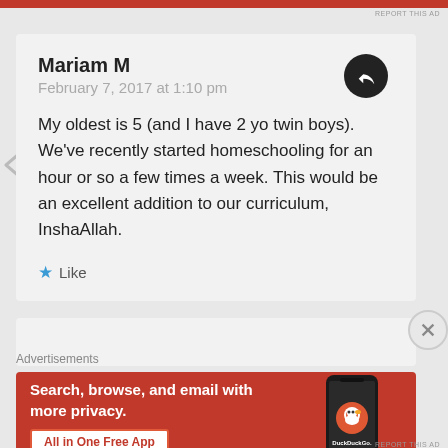REPORT THIS AD
Mariam M
February 7, 2017 at 1:10 pm

My oldest is 5 (and I have 2 yo twin boys). We've recently started homeschooling for an hour or so a few times a week. This would be an excellent addition to our curriculum, InshaAllah.

★ Like
Advertisements
[Figure (screenshot): DuckDuckGo advertisement banner: orange background with white bold text 'Search, browse, and email with more privacy.' and a white button 'All in One Free App', with a phone showing the DuckDuckGo app on the right side.]
REPORT THIS AD